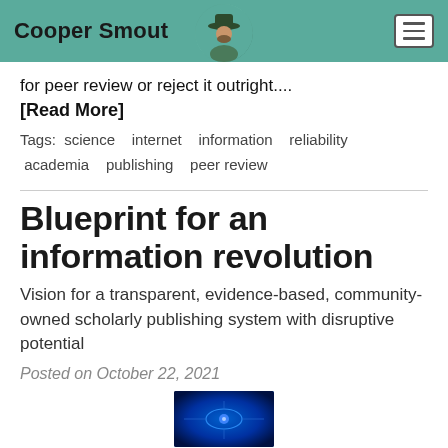Cooper Smout
for peer review or reject it outright....
[Read More]
Tags:  science   internet   information   reliability  academia   publishing   peer review
Blueprint for an information revolution
Vision for a transparent, evidence-based, community-owned scholarly publishing system with disruptive potential
Posted on October 22, 2021
[Figure (photo): Partial image of a technology/information themed graphic with blue tones at the bottom of the page]